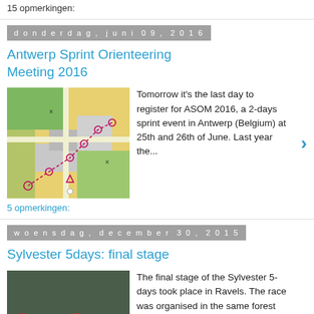15 opmerkingen:
donderdag, juni 09, 2016
Antwerp Sprint Orienteering Meeting 2016
[Figure (map): Orienteering map showing sprint course with yellow, green and grey areas and dotted course lines]
Tomorrow it's the last day to register for ASOM 2016, a 2-days sprint event in Antwerp (Belgium) at 25th and 26th of June. Last year the...
5 opmerkingen:
woensdag, december 30, 2015
Sylvester 5days: final stage
[Figure (photo): Group of five people standing outdoors in a forest, wearing winter jackets]
The final stage of the Sylvester 5-days took place in Ravels. The race was organised in the same forest as yesterday, but this time the sout...
20 opmerkingen: